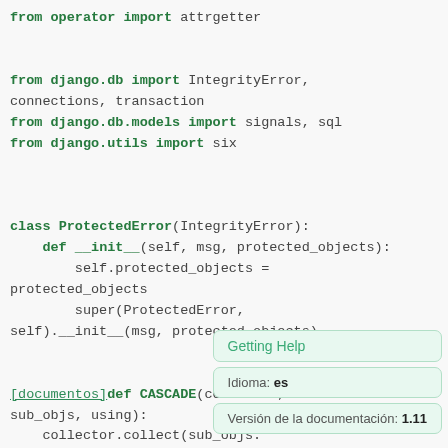[Figure (screenshot): Python source code snippet showing imports (from operator import attrgetter, from django.db import IntegrityError connections transaction, from django.db.models import signals sql, from django.utils import six), a class ProtectedError(IntegrityError) definition with __init__ method, and a CASCADE function definition, overlaid with a documentation tooltip showing 'Getting Help', 'Idioma: es', and 'Version de la documentacion: 1.11'.]